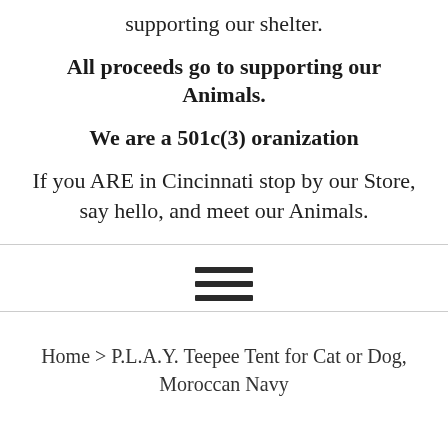supporting our shelter.
All proceeds go to supporting our Animals.
We are a 501c(3) oranization
If you ARE in Cincinnati stop by our Store, say hello, and meet our Animals.
[Figure (other): Hamburger menu icon (three horizontal lines)]
Home > P.L.A.Y. Teepee Tent for Cat or Dog, Moroccan Navy